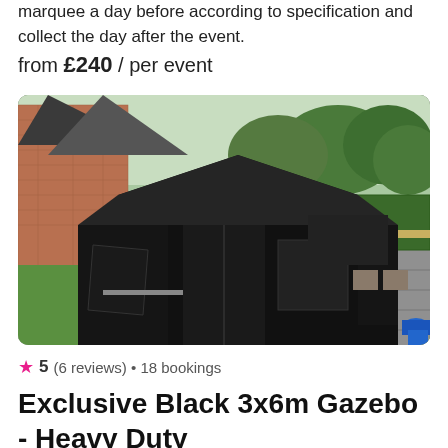marquee a day before according to specification and collect the day after the event.
from £240 / per event
[Figure (photo): A large black 3x6m gazebo tent set up on a garden lawn next to a brick building. The gazebo has black side panels with clear windows and a zip entrance. The garden has a patio area with stone slabs and outdoor furniture in the background.]
5 (6 reviews) • 18 bookings
Exclusive Black 3x6m Gazebo - Heavy Duty